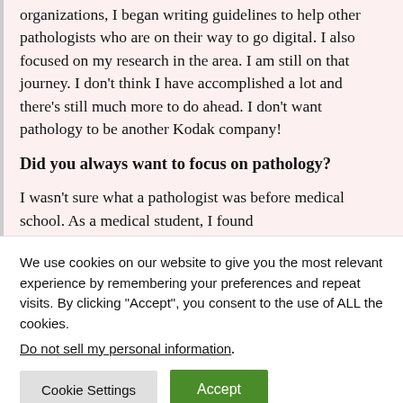organizations, I began writing guidelines to help other pathologists who are on their way to go digital. I also focused on my research in the area. I am still on that journey. I don't think I have accomplished a lot and there's still much more to do ahead. I don't want pathology to be another Kodak company!
Did you always want to focus on pathology?
I wasn't sure what a pathologist was before medical school. As a medical student, I found
We use cookies on our website to give you the most relevant experience by remembering your preferences and repeat visits. By clicking "Accept", you consent to the use of ALL the cookies.
Do not sell my personal information.